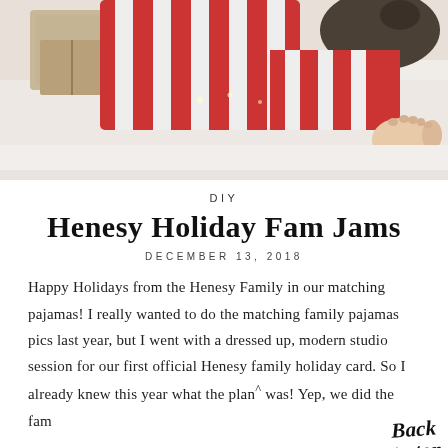[Figure (photo): Family lying on a white bed wearing matching red and white striped pajamas, feet visible, with wrapped gifts in background]
DIY
Henesy Holiday Fam Jams
DECEMBER 13, 2018
Happy Holidays from the Henesy Family in our matching pajamas! I really wanted to do the matching family pajamas pics last year, but I went with a dressed up, modern studio session for our first official Henesy family holiday card. So I already knew this year what the plan was! Yep, we did the fam